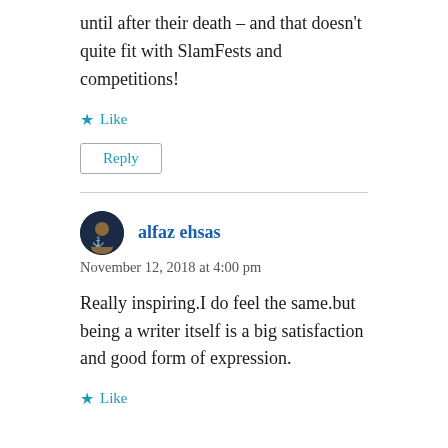until after their death – and that doesn't quite fit with SlamFests and competitions!
Like
Reply
alfaz ehsas
November 12, 2018 at 4:00 pm
Really inspiring.I do feel the same.but being a writer itself is a big satisfaction and good form of expression.
Like